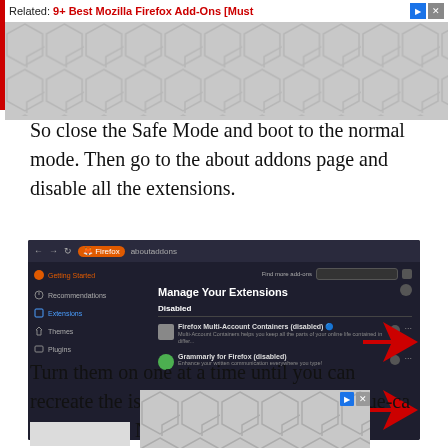[Figure (screenshot): Advertisement banner at top with red bar on left, Related: 9+ Best Mozilla Firefox Add-Ons [Must...] text, and hexagonal pattern background with ad icons]
So close the Safe Mode and boot to the normal mode. Then go to the about addons page and disable all the extensions.
[Figure (screenshot): Firefox browser screenshot showing the about:addons page with 'Manage Your Extensions' panel. Disabled section shows Firefox Multi-Account Containers (disabled) and Grammarly for Firefox (disabled) with red arrows pointing to the toggle switches.]
Turn them on one at a time until you can recreate the issue. W[advertisement overlay]hat issue-ca[advertisement overlay]Now